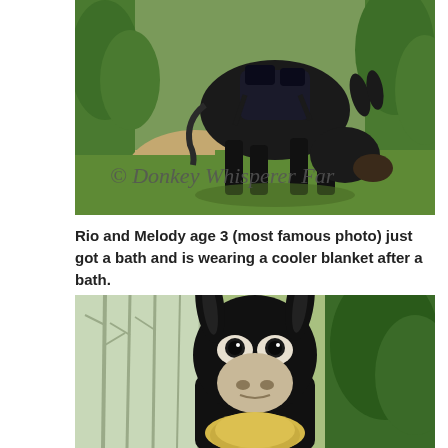[Figure (photo): A dark-colored donkey with a black backpack/saddle, grazing with head down on a dirt trail surrounded by green grass and trees. Watermark reads '© Donkey Whisperer Far...' in cursive.]
Rio and Melody age 3 (most famous photo) just got a bath and is wearing a cooler blanket after a bath.
[Figure (photo): Front-facing view of a dark/black donkey with large upright ears, white markings on face/nose, looking directly at camera. A person with blonde hair is visible in front of the donkey from behind. Trees visible in background.]